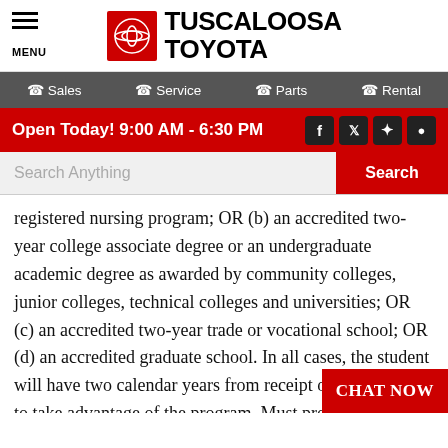MENU | TUSCALOOSA TOYOTA
Sales | Service | Parts | Rental
Open Today! 9:00 AM - 6:30 PM
registered nursing program; OR (b) an accredited two-year college associate degree or an undergraduate academic degree as awarded by community colleges, junior colleges, technical colleges and universities; OR (c) an accredited two-year trade or vocational school; OR (d) an accredited graduate school. In all cases, the student will have two calendar years from receipt of their degree to take advantage of the program. Must provide proof of qualification and any one of the following documents: (a) copy of diploma; OR (b) letter from the college/university/trade school registrar's office stating graduation date and type of degree or certifi…